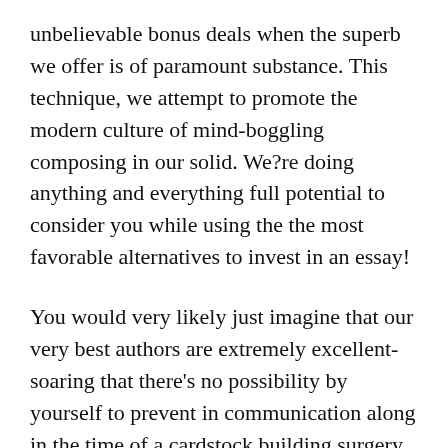unbelievable bonus deals when the superb we offer is of paramount substance. This technique, we attempt to promote the modern culture of mind-boggling composing in our solid. We?re doing anything and everything full potential to consider you while using the the most favorable alternatives to invest in an essay!
You would very likely just imagine that our very best authors are extremely excellent-soaring that there's no possibility by yourself to prevent in communication along in the time of a cardstock building surgery. But if truth be told, each of our blessed freelance writers are in this article so that you can you. We plainly